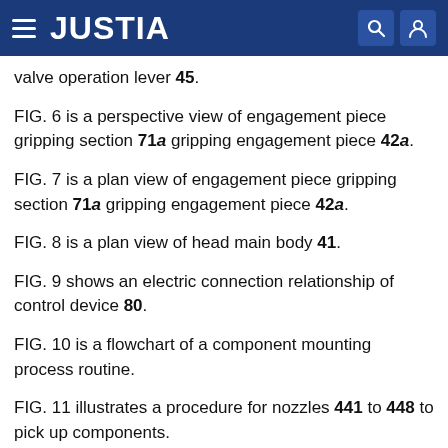JUSTIA
valve operation lever 45.
FIG. 6 is a perspective view of engagement piece gripping section 71a gripping engagement piece 42a.
FIG. 7 is a plan view of engagement piece gripping section 71a gripping engagement piece 42a.
FIG. 8 is a plan view of head main body 41.
FIG. 9 shows an electric connection relationship of control device 80.
FIG. 10 is a flowchart of a component mounting process routine.
FIG. 11 illustrates a procedure for nozzles 441 to 448 to pick up components.